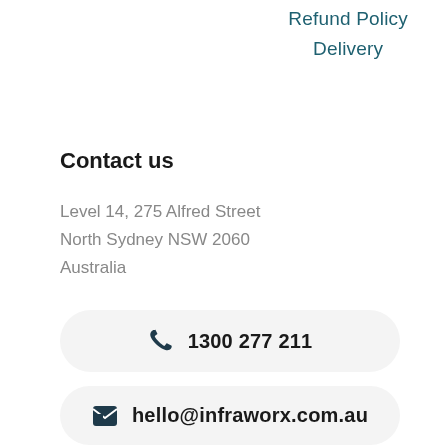Refund Policy
Delivery
Contact us
Level 14, 275 Alfred Street
North Sydney NSW 2060
Australia
1300 277 211
hello@infraworx.com.au